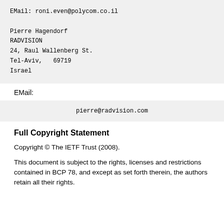EMail: roni.even@polycom.co.il

Pierre Hagendorf
RADVISION
24, Raul Wallenberg St.
Tel-Aviv,   69719
Israel
EMail:
pierre@radvision.com
Full Copyright Statement
Copyright © The IETF Trust (2008).
This document is subject to the rights, licenses and restrictions contained in BCP 78, and except as set forth therein, the authors retain all their rights.